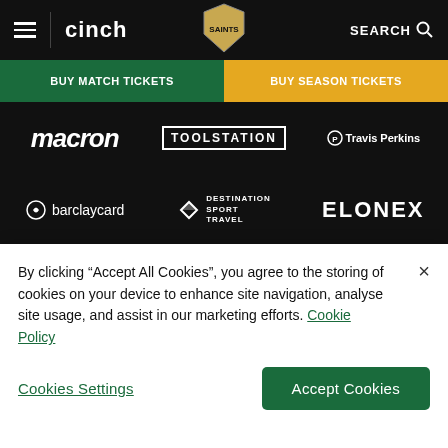[Figure (screenshot): Website navigation bar with cinch logo, hamburger menu, club crest, and search button on black background]
[Figure (screenshot): Two ticket purchase buttons: BUY MATCH TICKETS (green) and BUY SEASON TICKETS (gold/yellow)]
[Figure (screenshot): Sponsor logos grid on black background: Macron, Toolstation, Travis Perkins, Barclaycard, Destination Sport Travel, Elonex, Michael Jones Jeweller, Mirus, Hyundai Spirit, SPOKE, Warners, NutritionX]
By clicking “Accept All Cookies”, you agree to the storing of cookies on your device to enhance site navigation, analyse site usage, and assist in our marketing efforts. Cookie Policy
Cookies Settings
Accept Cookies